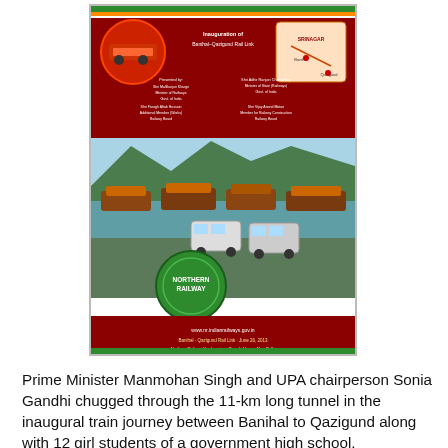[Figure (photo): Northern Railway inauguration poster/brochure image showing a train, Dal Lake houseboats, and a map of the Banihal–Qazigund railway line with text and dignitaries listed.]
Prime Minister Manmohan Singh and UPA chairperson Sonia Gandhi chugged through the 11-km long tunnel in the inaugural train journey between Banihal to Qazigund along with 12 girl students of a government high school.
The PM praised the engineers for the feat describing the tunnel as an example of engineering marvel that connects two regions of the state, Sonia reached out to the people with a salve saying, "I know very well that painful incidents happen here occasionally, but our democracy has enough scope to sort out issues through dialogue and negotiations."
"The people are fed up with violence and eager to taste peace and development. The large turnout of people during the Panchayat elections is proof of their desire for peace and